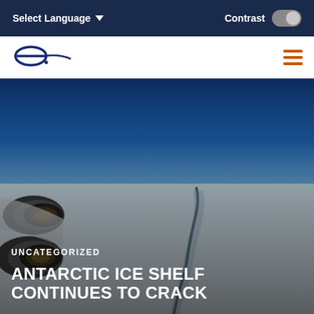Select Language   Contrast
[Figure (logo): Encyclopaedia Britannica logo — stylized 'e' in dark navy blue]
[Figure (photo): Aerial photograph of an Antarctic ice shelf with a large crack/rift running through it, with jet engines visible on the left side of the frame. The sky is deep blue at the top fading to white over the ice plain.]
UNCATEGORIZED
ANTARCTIC ICE SHELF CONTINUES TO CRACK